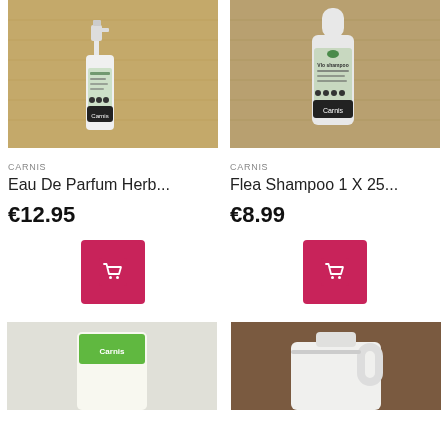[Figure (photo): Carnis Eau De Parfum spray bottle on burlap background]
[Figure (photo): Carnis Flea Shampoo bottle on burlap background]
CARNIS
Eau De Parfum Herb...
€12.95
[Figure (other): Shopping cart button]
CARNIS
Flea Shampoo 1 X 25...
€8.99
[Figure (other): Shopping cart button]
[Figure (photo): Product image bottom left - light background with green label]
[Figure (photo): Product image bottom right - white jug on brown background]